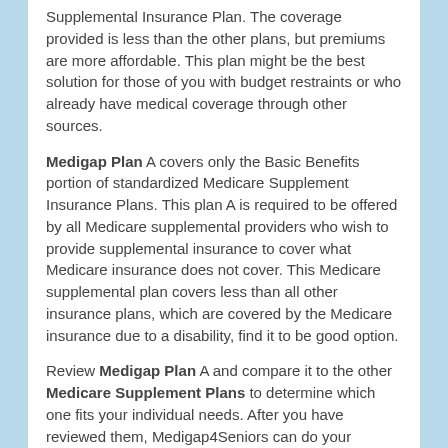Supplemental Insurance Plan. The coverage provided is less than the other plans, but premiums are more affordable. This plan might be the best solution for those of you with budget restraints or who already have medical coverage through other sources.
Medigap Plan A covers only the Basic Benefits portion of standardized Medicare Supplement Insurance Plans. This plan A is required to be offered by all Medicare supplemental providers who wish to provide supplemental insurance to cover what Medicare insurance does not cover. This Medicare supplemental plan covers less than all other insurance plans, which are covered by the Medicare insurance due to a disability, find it to be good option.
Review Medigap Plan A and compare it to the other Medicare Supplement Plans to determine which one fits your individual needs. After you have reviewed them, Medigap4Seniors can do your insurance company shopping for you with an instant quote from the many insurance companies in your area.